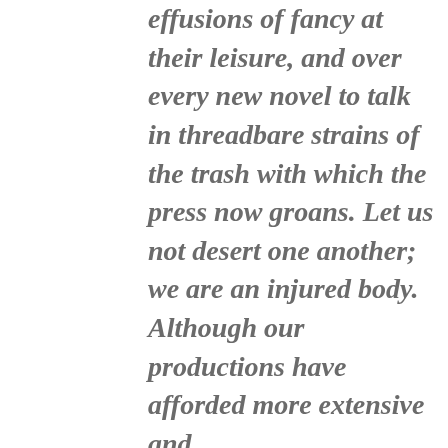effusions of fancy at their leisure, and over every new novel to talk in threadbare strains of the trash with which the press now groans. Let us not desert one another; we are an injured body. Although our productions have afforded more extensive and